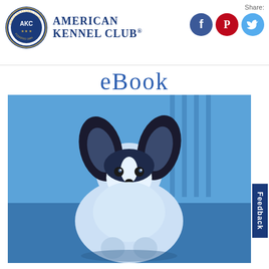American Kennel Club
eBook
[Figure (photo): Blue-tinted photograph of a Papillon puppy sitting and facing the camera, with large butterfly-like ears, black and white fur, against a blue-tinted room background.]
Feedback